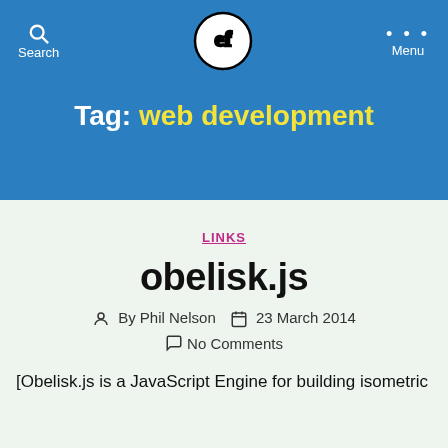Search | [logo] | Menu
Tag: web development
LINKS
obelisk.js
By Phil Nelson  23 March 2014  No Comments
[Obelisk.js is a JavaScript Engine for building isometric